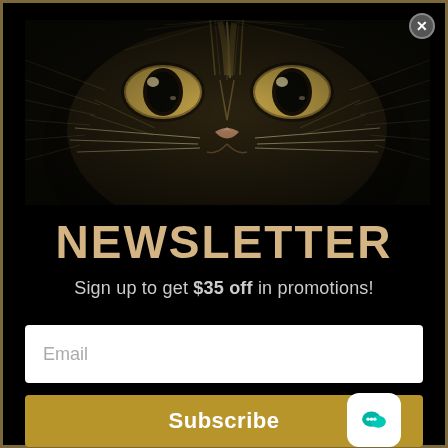[Figure (illustration): Close-up engraving-style illustration of a cat face, dark background with tan/beige tones, showing cat's eyes, nose, and fur in detailed scratch-art style]
NEWSLETTER
Sign up to get $35 off in promotions!
Email (input field placeholder)
Subscribe (button)